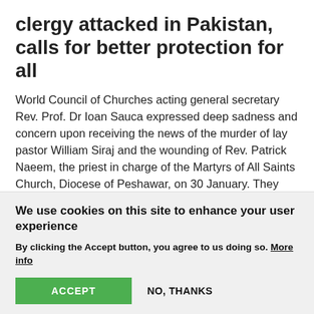clergy attacked in Pakistan, calls for better protection for all
World Council of Churches acting general secretary Rev. Prof. Dr Ioan Sauca expressed deep sadness and concern upon receiving the news of the murder of lay pastor William Siraj and the wounding of Rev. Patrick Naeem, the priest in charge of the Martyrs of All Saints Church, Diocese of Peshawar, on 30 January. They were ambushed by two unidentified gunman as they were returning from Sunday worship in Peshawar, Khyber Pakhtunkhwa.
04 February 2022
We use cookies on this site to enhance your user experience
By clicking the Accept button, you agree to us doing so. More info
ACCEPT   NO, THANKS